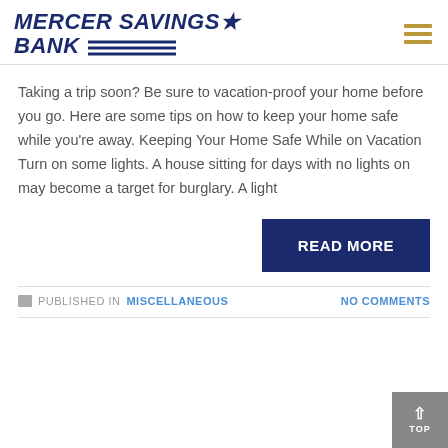[Figure (logo): Mercer Savings Bank logo with italic bold text, star, and blue diagonal lines]
Taking a trip soon? Be sure to vacation-proof your home before you go. Here are some tips on how to keep your home safe while you're away. Keeping Your Home Safe While on Vacation Turn on some lights. A house sitting for days with no lights on may become a target for burglary. A light
READ MORE
PUBLISHED IN MISCELLANEOUS
NO COMMENTS